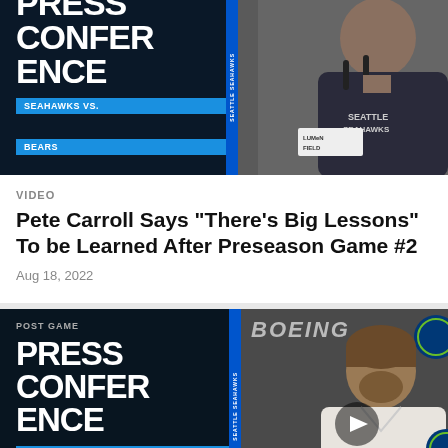[Figure (screenshot): Video thumbnail: Post Game Press Conference, Seahawks vs. Bears, showing a man at a podium wearing a Seattle Seahawks shirt at Lumen Field]
VIDEO
Pete Carroll Says "There's Big Lessons" To be Learned After Preseason Game #2
Aug 18, 2022
[Figure (screenshot): Video thumbnail: Post Game Press Conference, Seahawks vs. Bears, showing a young man with brown hair at a press conference with Boeing and Seattle Seahawks logos in background]